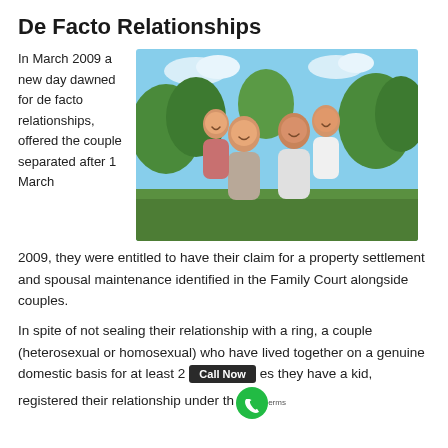De Facto Relationships
In March 2009 a new day dawned for de facto relationships, offered the couple separated after 1 March 2009, they were entitled to have their claim for a property settlement and spousal maintenance identified in the Family Court alongside couples.
[Figure (photo): A happy family of four — a father, mother, daughter, and son — outdoors on a green lawn, smiling together.]
In spite of not sealing their relationship with a ring, a couple (heterosexual or homosexual) who have lived together on a genuine domestic basis for at least 2 years, unless they have a kid, registered their relationship under the laws of the State, can...